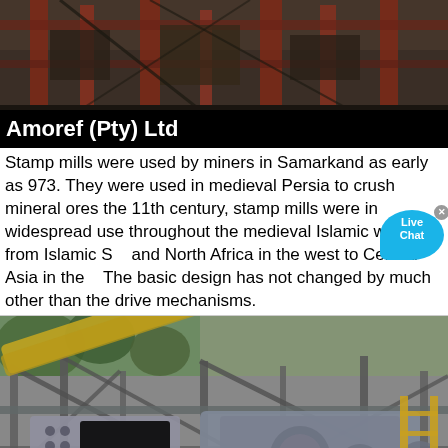[Figure (photo): Industrial machinery/stamp mill equipment photographed from below, showing red/brown metal framework and mechanical components against a dark background.]
Amoref (Pty) Ltd
Stamp mills were used by miners in Samarkand as early as 973. They were used in medieval Persia to crush mineral ores the 11th century, stamp mills were in widespread use throughout the medieval Islamic world, from Islamic S... and North Africa in the west to Central Asia in the... The basic design has not changed by much other than the drive mechanisms.
[Figure (photo): Industrial stamp mill machinery with metal framework, conveyor belts, and mechanical equipment photographed outdoors with green trees visible in background.]